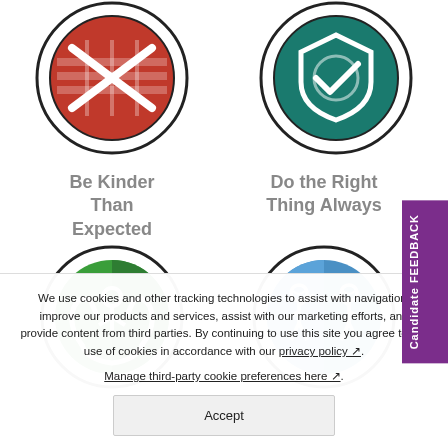[Figure (illustration): Red circular icon with crossed tools/flag design, top-left]
[Figure (illustration): Teal/green circular icon with shield and checkmark design, top-right]
Be Kinder Than Expected
Do the Right Thing Always
[Figure (illustration): Green circular icon with hands holding a person figure, bottom-left]
[Figure (illustration): Blue circular icon with two people raising hands together, bottom-right]
Candidate FEEDBACK
We use cookies and other tracking technologies to assist with navigation, improve our products and services, assist with our marketing efforts, and provide content from third parties. By continuing to use this site you agree to our use of cookies in accordance with our privacy policy ↗. Manage third-party cookie preferences here ↗.
Accept